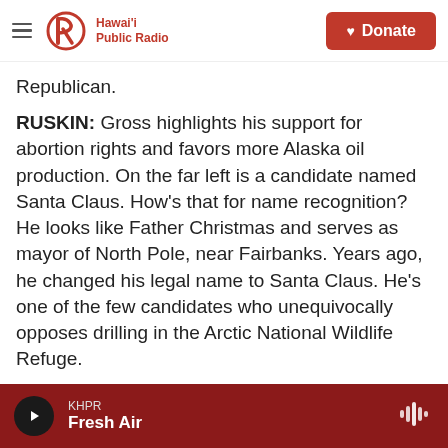Hawai'i Public Radio | Donate
Republican.
RUSKIN: Gross highlights his support for abortion rights and favors more Alaska oil production. On the far left is a candidate named Santa Claus. How's that for name recognition? He looks like Father Christmas and serves as mayor of North Pole, near Fairbanks. Years ago, he changed his legal name to Santa Claus. He's one of the few candidates who unequivocally opposes drilling in the Arctic National Wildlife Refuge.
SANTA CLAUS: I say leave it alone. Defend the
KHPR | Fresh Air